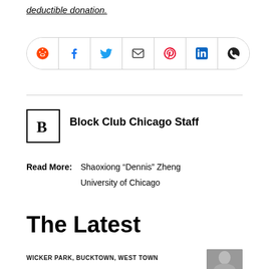deductible donation.
[Figure (other): Social share buttons: Reddit, Facebook, Twitter, Email, Pinterest, LinkedIn, WhatsApp]
[Figure (logo): Block Club Chicago Staff logo — letter B in a box]
Block Club Chicago Staff
Read More: Shaoxiong “Dennis” Zheng
University of Chicago
The Latest
WICKER PARK, BUCKTOWN, WEST TOWN